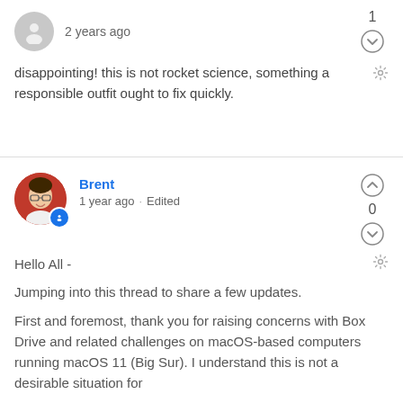2 years ago
1
disappointing! this is not rocket science, something a responsible outfit ought to fix quickly.
Brent
1 year ago · Edited
0
Hello All -
Jumping into this thread to share a few updates.
First and foremost, thank you for raising concerns with Box Drive and related challenges on macOS-based computers running macOS 11 (Big Sur). I understand this is not a desirable situation for